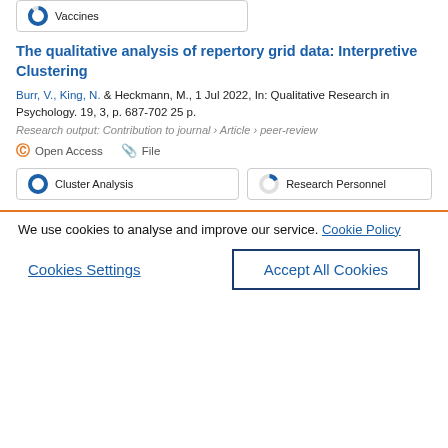Vaccines
The qualitative analysis of repertory grid data: Interpretive Clustering
Burr, V., King, N. & Heckmann, M., 1 Jul 2022, In: Qualitative Research in Psychology. 19, 3, p. 687-702 25 p.
Research output: Contribution to journal › Article › peer-review
Open Access   File
Cluster Analysis
Research Personnel
We use cookies to analyse and improve our service. Cookie Policy
Cookies Settings
Accept All Cookies